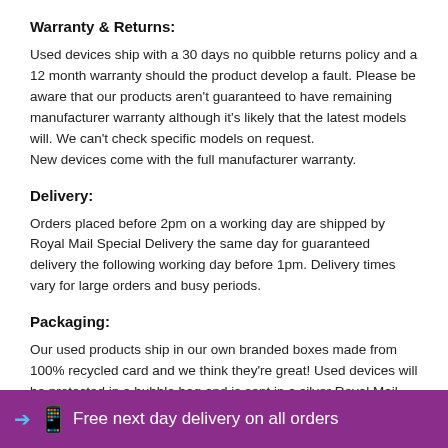Warranty & Returns:
Used devices ship with a 30 days no quibble returns policy and a 12 month warranty should the product develop a fault. Please be aware that our products aren't guaranteed to have remaining manufacturer warranty although it's likely that the latest models will. We can't check specific models on request.
New devices come with the full manufacturer warranty.
Delivery:
Orders placed before 2pm on a working day are shipped by Royal Mail Special Delivery the same day for guaranteed delivery the following working day before 1pm. Delivery times vary for large orders and busy periods.
Packaging:
Our used products ship in our own branded boxes made from 100% recycled card and we think they're great! Used devices will be protected in a bubble bag and is sent in a silver Royal Mail Special
Free next day delivery on all orders